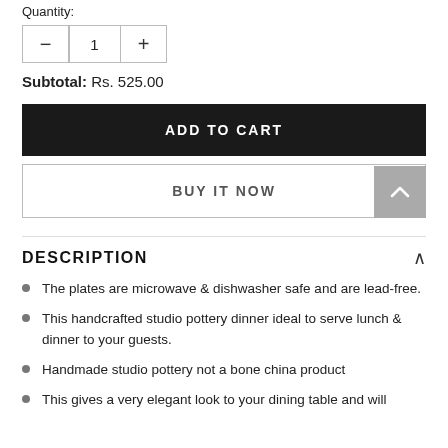Quantity:
— 1 +
Subtotal:  Rs. 525.00
ADD TO CART
BUY IT NOW
DESCRIPTION
The plates are microwave & dishwasher safe and are lead-free.
This handcrafted studio pottery dinner ideal to serve lunch & dinner to your guests.
Handmade studio pottery not a bone china product
This gives a very elegant look to your dining table and will